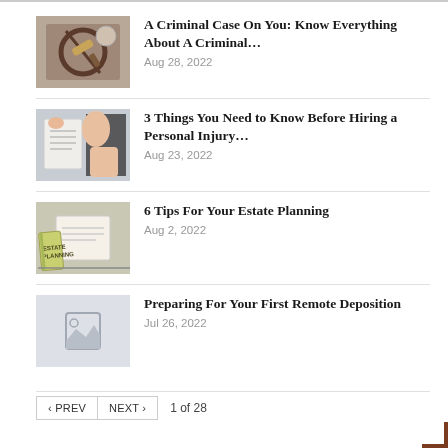A Criminal Case On You: Know Everything About A Criminal…
Aug 28, 2022
3 Things You Need to Know Before Hiring a Personal Injury…
Aug 23, 2022
6 Tips For Your Estate Planning
Aug 2, 2022
Preparing For Your First Remote Deposition
Jul 26, 2022
‹ PREV   NEXT ›   1 of 28